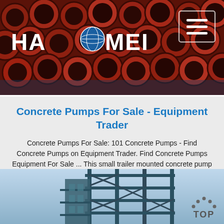[Figure (photo): Header photo showing stacked red/dark-red concrete pump pipes, with HAOMEI logo on the left and a hamburger menu button on the right]
Concrete Pumps For Sale - Equipment Trader
Concrete Pumps For Sale: 101 Concrete Pumps - Find Concrete Pumps on Equipment Trader. Find Concrete Pumps Equipment For Sale ... This small trailer mounted concrete pump is perfect for all your small grout and pea-roc... Thomas Concrete Machinery - Website. Orlando FL 2400 mi. away . Email . Call 1-866-748-9617. Thomas Concrete Machinery ...
[Figure (other): Get Price button]
[Figure (photo): Bottom photo showing an industrial construction structure or tower with blue-grey sky background, and a TOP button in the lower right]